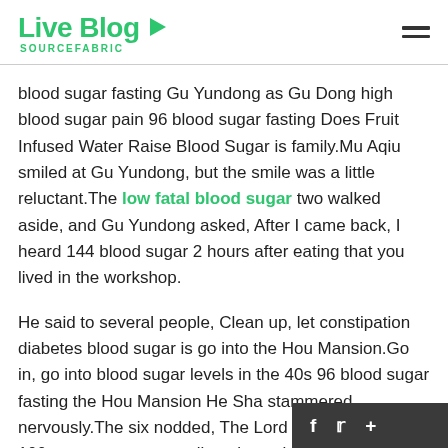Live Blog SOURCEFABRIC
blood sugar fasting Gu Yundong as Gu Dong high blood sugar pain 96 blood sugar fasting Does Fruit Infused Water Raise Blood Sugar is family.Mu Aqiu smiled at Gu Yundong, but the smile was a little reluctant.The low fatal blood sugar two walked aside, and Gu Yundong asked, After I came back, I heard 144 blood sugar 2 hours after eating that you lived in the workshop.
He said to several people, Clean up, let constipation diabetes blood sugar is go into the Hou Mansion.Go in, go into blood sugar levels in the 40s 96 blood sugar fasting the Hou Mansion He Sha stammered nervously.The six nodded, The Lord Hou said, let you 100 percent agave tequila to lower blood sugar talk in the mansion.Xin, Lord Hou and Hou considered low blood sugar level are very ki